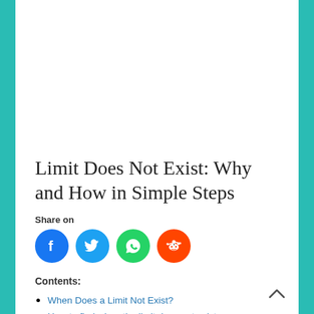Limit Does Not Exist: Why and How in Simple Steps
Share on
[Figure (infographic): Social media share icons: Facebook (blue circle), Twitter (light blue circle), WhatsApp (green circle), Reddit (orange circle)]
Contents:
When Does a Limit Not Exist?
How to find when the limit does not exist